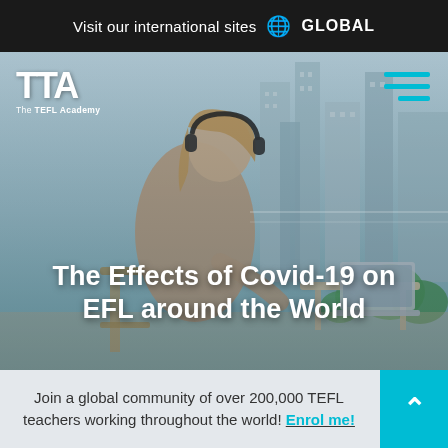Visit our international sites 🌐 GLOBAL
[Figure (photo): Hero image of a young woman wearing headphones, working on a laptop at an outdoor table with a city skyline in the background. TTA (The TEFL Academy) logo in top left. Hamburger menu icon (teal lines) in top right.]
The Effects of Covid-19 on EFL around the World
Join a global community of over 200,000 TEFL teachers working throughout the world! Enrol me!